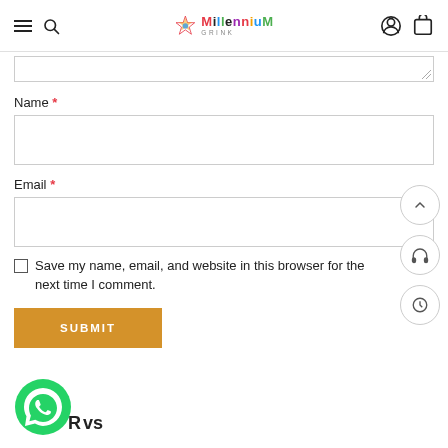Millennium Online Store header with hamburger menu, search icon, logo, account icon, and cart icon
Name *
Email *
Save my name, email, and website in this browser for the next time I comment.
SUBMIT
[Figure (logo): WhatsApp green icon]
Reviews